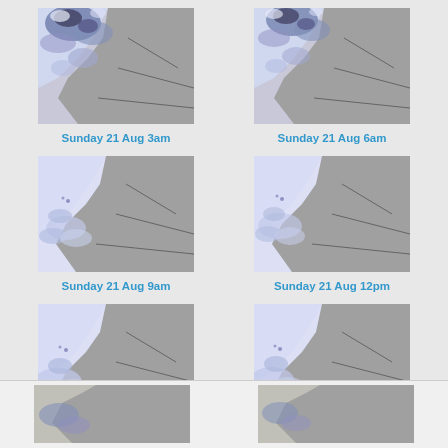[Figure (map): Weather/satellite map of West Africa coastal region showing cloud/precipitation patterns at Sunday 21 Aug 3am]
Sunday 21 Aug 3am
[Figure (map): Weather/satellite map of West Africa coastal region at Sunday 21 Aug 6am]
Sunday 21 Aug 6am
[Figure (map): Weather/satellite map of West Africa coastal region at Sunday 21 Aug 9am]
Sunday 21 Aug 9am
[Figure (map): Weather/satellite map of West Africa coastal region at Sunday 21 Aug 12pm]
Sunday 21 Aug 12pm
[Figure (map): Weather/satellite map of West Africa coastal region at Sunday 21 Aug 3pm]
Sunday 21 Aug 3pm
[Figure (map): Weather/satellite map of West Africa coastal region at Sunday 21 Aug 6pm]
Sunday 21 Aug 6pm